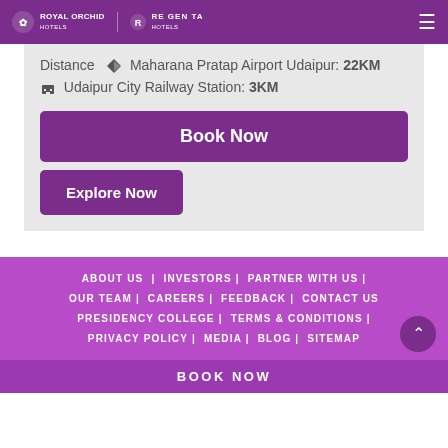Royal Orchid Hotels | Regenta Hotels
Distance ✈ Maharana Pratap Airport Udaipur: 22KM 🚉 Udaipur City Railway Station: 3KM
Book Now
Explore Now
ABOUT US | INVESTORS | PARTNER WITH US | OUR TEAM | CAREERS | FEEDBACK | CONTACT US PRESIDENCY COLLEGE | TERMS & CONDITIONS | PRIVACY POLICY | MEDIA | BLOG | SITEMAP
BOOK NOW